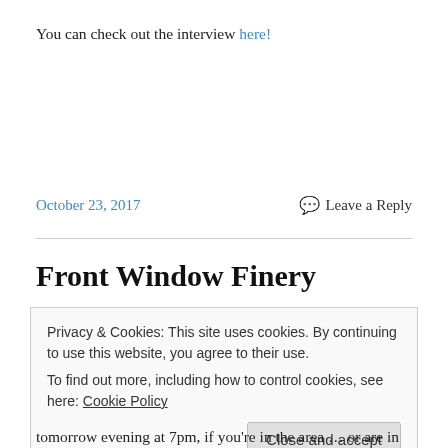You can check out the interview here!
October 23, 2017   Leave a Reply
Front Window Finery
Privacy & Cookies: This site uses cookies. By continuing to use this website, you agree to their use.
To find out more, including how to control cookies, see here: Cookie Policy
Close and accept
tomorrow evening at 7pm, if you're in the area … or are in